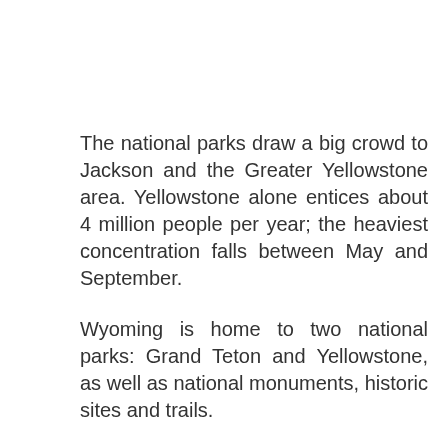The national parks draw a big crowd to Jackson and the Greater Yellowstone area. Yellowstone alone entices about 4 million people per year; the heaviest concentration falls between May and September.
Wyoming is home to two national parks: Grand Teton and Yellowstone, as well as national monuments, historic sites and trails.
Did you know? 96 percent of Yellowstone National Park is in Wyoming!
With 563,000 residents among 62+ million